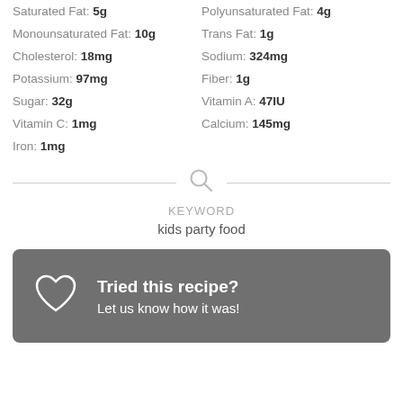Saturated Fat: 5g | Polyunsaturated Fat: 4g
Monounsaturated Fat: 10g | Trans Fat: 1g
Cholesterol: 18mg | Sodium: 324mg
Potassium: 97mg | Fiber: 1g
Sugar: 32g | Vitamin A: 47IU
Vitamin C: 1mg | Calcium: 145mg
Iron: 1mg
KEYWORD
kids party food
Tried this recipe? Let us know how it was!